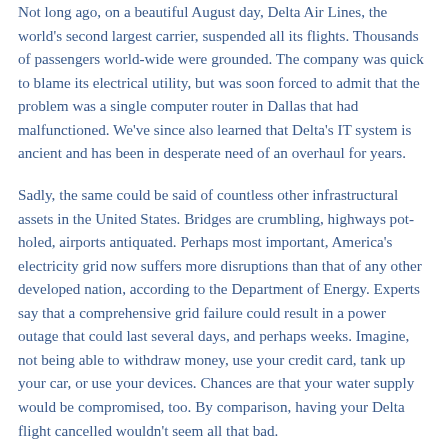Not long ago, on a beautiful August day, Delta Air Lines, the world's second largest carrier, suspended all its flights. Thousands of passengers world-wide were grounded. The company was quick to blame its electrical utility, but was soon forced to admit that the problem was a single computer router in Dallas that had malfunctioned. We've since also learned that Delta's IT system is ancient and has been in desperate need of an overhaul for years.
Sadly, the same could be said of countless other infrastructural assets in the United States. Bridges are crumbling, highways pot-holed, airports antiquated. Perhaps most important, America's electricity grid now suffers more disruptions than that of any other developed nation, according to the Department of Energy. Experts say that a comprehensive grid failure could result in a power outage that could last several days, and perhaps weeks. Imagine, not being able to withdraw money, use your credit card, tank up your car, or use your devices. Chances are that your water supply would be compromised, too. By comparison, having your Delta flight cancelled wouldn't seem all that bad.